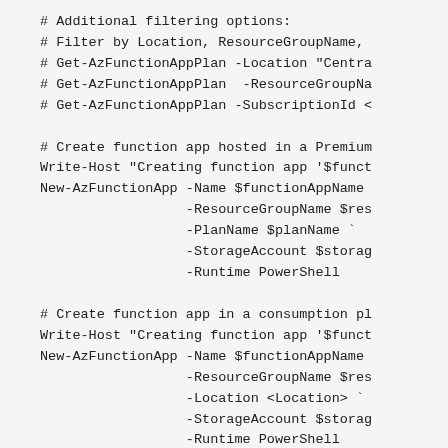# Additional filtering options:
# Filter by Location, ResourceGroupName,
# Get-AzFunctionAppPlan -Location "Centra
# Get-AzFunctionAppPlan  -ResourceGroupNa
# Get-AzFunctionAppPlan -SubscriptionId <

# Create function app hosted in a Premium
Write-Host "Creating function app '$funct
New-AzFunctionApp -Name $functionAppName
                  -ResourceGroupName $res
                  -PlanName $planName `
                  -StorageAccount $storag
                  -Runtime PowerShell

# Create function app in a consumption pl
Write-Host "Creating function app '$funct
New-AzFunctionApp -Name $functionAppName
                  -ResourceGroupName $res
                  -Location <Location> `
                  -StorageAccount $storag
                  -Runtime PowerShell

# Get all the function apps